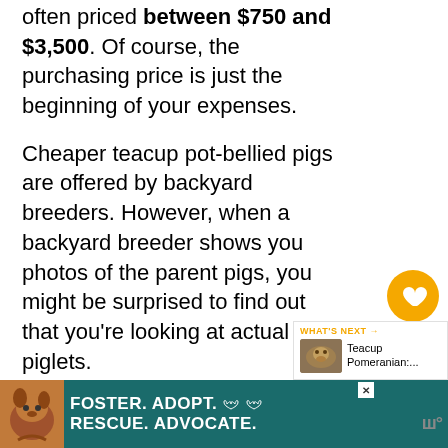often priced between $750 and $3,500. Of course, the purchasing price is just the beginning of your expenses.
Cheaper teacup pot-bellied pigs are offered by backyard breeders. However, when a backyard breeder shows you photos of the parent pigs, you might be surprised to find out that you’re looking at actual piglets.
This is a common strategy to prove that they are selling teacup varieties when, in fact, they are just selling normal-sized pot-b... Those who want to save money end up sp...
[Figure (screenshot): UI elements: orange heart/like button with count 4, share button, and WHAT'S NEXT widget with thumbnail of teacup Pomeranian article]